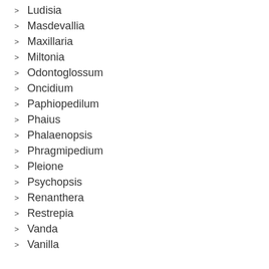Ludisia
Masdevallia
Maxillaria
Miltonia
Odontoglossum
Oncidium
Paphiopedilum
Phaius
Phalaenopsis
Phragmipedium
Pleione
Psychopsis
Renanthera
Restrepia
Vanda
Vanilla